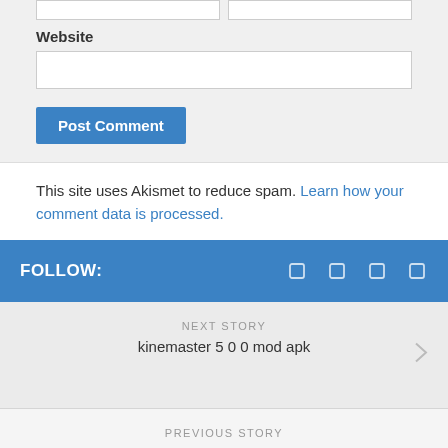Website
Post Comment
This site uses Akismet to reduce spam. Learn how your comment data is processed.
FOLLOW:
NEXT STORY
kinemaster 5 0 0 mod apk
PREVIOUS STORY
Star Legends